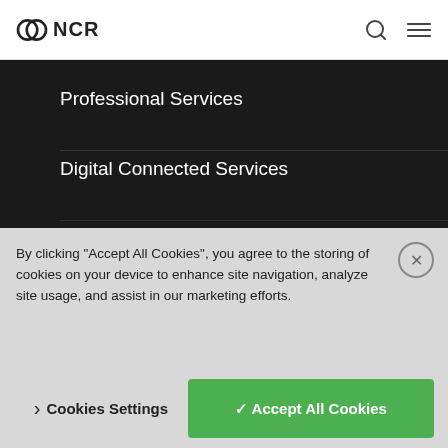NCR
Professional Services
Digital Connected Services
Consumer Engagement
Payments
Payroll Services | Cloud-based HR Software Solution | NCR
ATM & Self-Directed Banking
FOLLOW
Twitter
Facebook
By clicking “Accept All Cookies”, you agree to the storing of cookies on your device to enhance site navigation, analyze site usage, and assist in our marketing efforts.
Cookies Settings
✓ Accept All Cookies